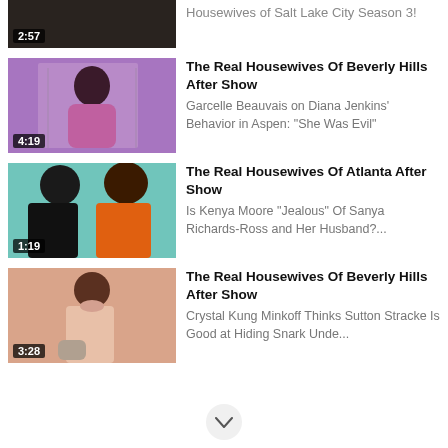[Figure (screenshot): Partial video thumbnail with timestamp 2:57, dark background]
Housewives of Salt Lake City Season 3!
[Figure (screenshot): Video thumbnail showing woman in purple dress, purple background, timestamp 4:19]
The Real Housewives Of Beverly Hills After Show
Garcelle Beauvais on Diana Jenkins' Behavior in Aspen: "She Was Evil"
[Figure (screenshot): Video thumbnail showing two women, teal background, timestamp 1:19]
The Real Housewives Of Atlanta After Show
Is Kenya Moore "Jealous" Of Sanya Richards-Ross and Her Husband?...
[Figure (screenshot): Video thumbnail showing woman in pink top, peach background, timestamp 3:28]
The Real Housewives Of Beverly Hills After Show
Crystal Kung Minkoff Thinks Sutton Stracke Is Good at Hiding Snark Unde...